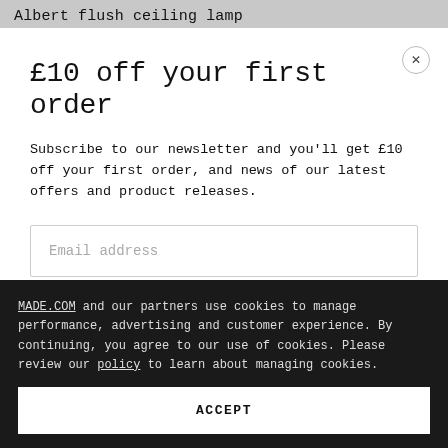Albert flush ceiling lamp
£10 off your first order
Subscribe to our newsletter and you'll get £10 off your first order, and news of our latest offers and product releases.
Email address
Submit
MADE.COM and our partners use cookies to manage performance, advertising and customer experience. By continuing, you agree to our use of cookies. Please review our policy to learn about managing cookies.
ACCEPT